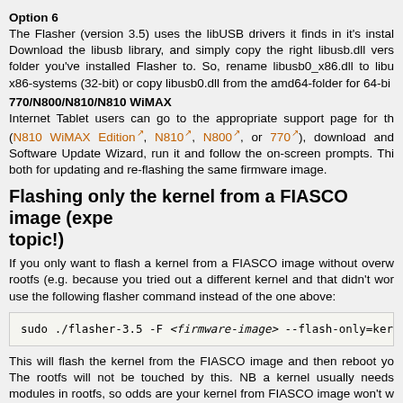Option 6
The Flasher (version 3.5) uses the libUSB drivers it finds in it's instal... Download the libusb library, and simply copy the right libusb.dll vers... folder you've installed Flasher to. So, rename libusb0_x86.dll to libu... x86-systems (32-bit) or copy libusb0.dll from the amd64-folder for 64-bi...
770/N800/N810/N810 WiMAX
Internet Tablet users can go to the appropriate support page for th... (N810 WiMAX Edition, N810, N800, or 770), download and ... Software Update Wizard, run it and follow the on-screen prompts. This... both for updating and re-flashing the same firmware image.
Flashing only the kernel from a FIASCO image (expe... topic!)
If you only want to flash a kernel from a FIASCO image without overw... rootfs (e.g. because you tried out a different kernel and that didn't wor... use the following flasher command instead of the one above:
sudo ./flasher-3.5 -F <firmware-image> --flash-only=kernel -f
This will flash the kernel from the FIASCO image and then reboot yo... The rootfs will not be touched by this. NB a kernel usually needs... modules in rootfs, so odds are your kernel from FIASCO image won't w... if you messed up the modules in rootfs - you need to fla... COMBINED/FIASCO image then to recover.